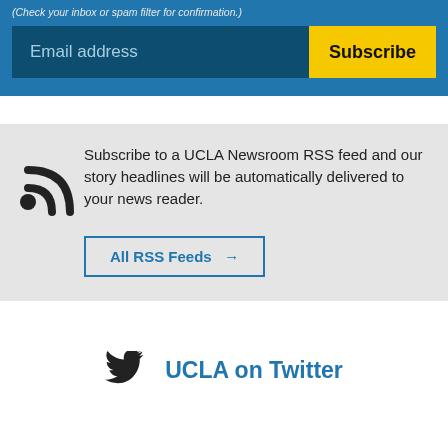(Check your inbox or spam filter for confirmation.)
[Figure (screenshot): Email address input field with Subscribe button on blue background]
Subscribe to a UCLA Newsroom RSS feed and our story headlines will be automatically delivered to your news reader.
All RSS Feeds →
UCLA on Twitter